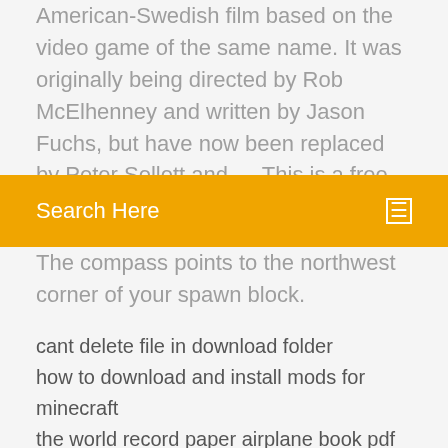American-Swedish film based on the video game of the same name. It was originally being directed by Rob McElhenney and written by Jason Fuchs, but have now been replaced by Peter Sollett and … This is a free ready to use survival spawn The map comes with a vanilla world that's ready for all versions of 1.8 You could use it as a singleplayer world with a pre built base
Search Here
The compass points to the northwest corner of your spawn block.
cant delete file in download folder
how to download and install mods for minecraft
the world record paper airplane book pdf download
how to download groove music app to computer
Download apps on mac via commandline
Minecraft story mode season 1 download all episodes
Downloadable century 21 logo
Pdf to doc converter free download